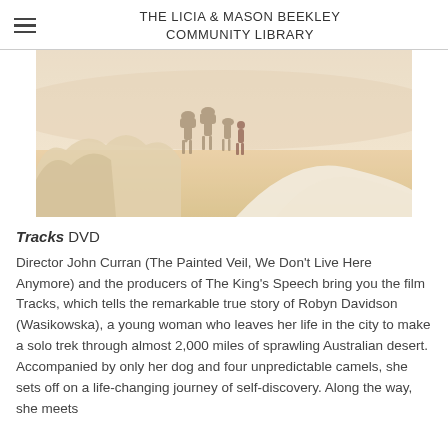THE LICIA & MASON BEEKLEY COMMUNITY LIBRARY
[Figure (photo): Desert scene with camels and a person walking among sandy white rock formations under a pale hazy sky]
Tracks DVD Director John Curran (The Painted Veil, We Don't Live Here Anymore) and the producers of The King's Speech bring you the film Tracks, which tells the remarkable true story of Robyn Davidson (Wasikowska), a young woman who leaves her life in the city to make a solo trek through almost 2,000 miles of sprawling Australian desert. Accompanied by only her dog and four unpredictable camels, she sets off on a life-changing journey of self-discovery. Along the way, she meets